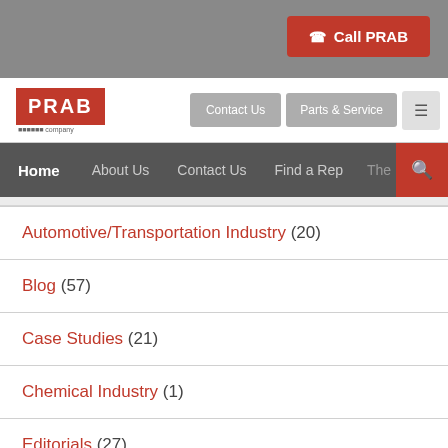Call PRAB
[Figure (logo): PRAB company logo, red rectangle with white text PRAB]
Contact Us | Parts & Service | Menu
Home | About Us | Contact Us | Find a Rep | The P...
Automotive/Transportation Industry (20)
Blog (57)
Case Studies (21)
Chemical Industry (1)
Editorials (27)
Food and Beverage (1)
Other Industry (11)